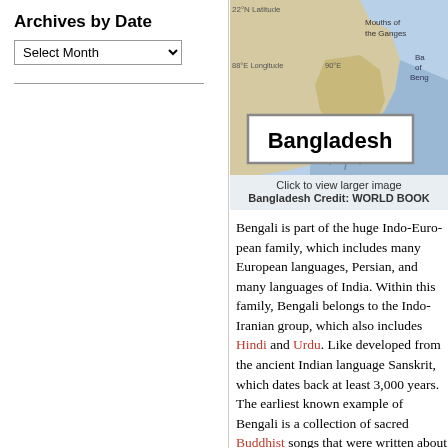Archives by Date
Select Month
[Figure (map): Map of Bangladesh showing location with latitude/longitude markers, Mouths of the Ganges label, and Bay of Bengal. Bangladesh label box overlay at bottom.]
Click to view larger image
Bangladesh Credit: WORLD BOOK
Bengali is part of the huge Indo-European family, which includes many European languages, Persian, and many languages of India. Within this family, Bengali belongs to the Indo-Iranian group, which also includes Hindi and Urdu. Like other modern languages, it developed from the ancient Indian language Sanskrit, which dates back at least 3,000 years. The earliest known example of Bengali is a collection of sacred Buddhist songs that were written about 1,000 years ago.
The Bengal region has been ruled by many different groups, including Buddhists, Hindus, and Muslims. During the 1700's, Bengal became the political and economic center of British India. During the late 1800's and early 1900's, Bengali writers and thinkers were at the forefront of the struggle fo